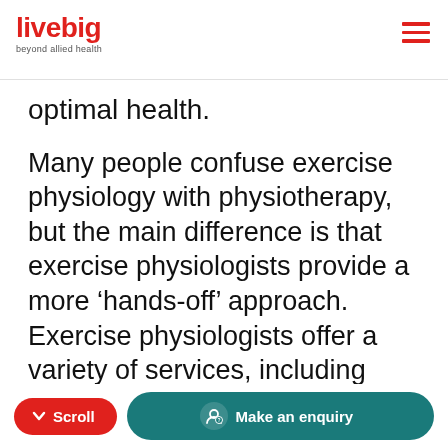livebig | beyond allied health
optimal health.
Many people confuse exercise physiology with physiotherapy, but the main difference is that exercise physiologists provide a more ‘hands-off’ approach. Exercise physiologists offer a variety of services, including behavioural coaching, health education, exercise counselling and physical rehabi... The end part is cut off
Scroll | Make an enquiry